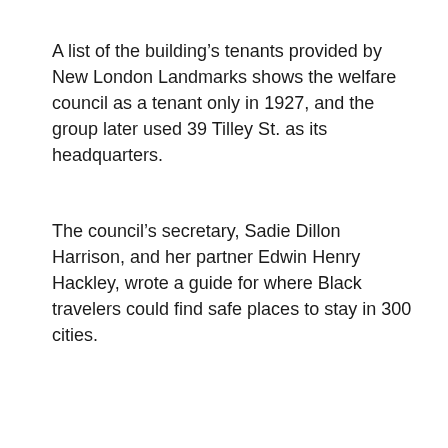A list of the building's tenants provided by New London Landmarks shows the welfare council as a tenant only in 1927, and the group later used 39 Tilley St. as its headquarters.
The council's secretary, Sadie Dillon Harrison, and her partner Edwin Henry Hackley, wrote a guide for where Black travelers could find safe places to stay in 300 cities.